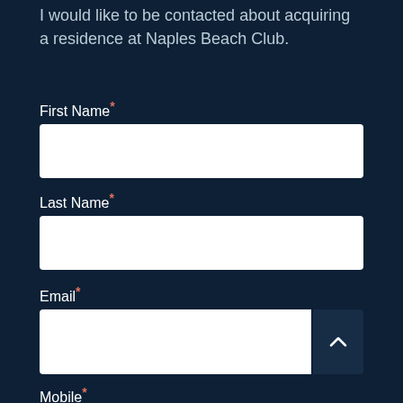I would like to be contacted about acquiring a residence at Naples Beach Club.
First Name*
Last Name*
Email*
Mobile*